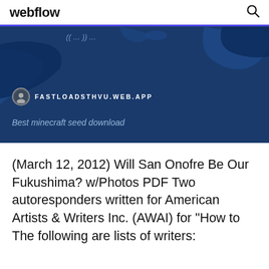webflow
[Figure (screenshot): Webflow website screenshot showing a dark blue map background with a site URL 'FASTLOADSTHVU.WEB.APP' and subtitle text 'Best minecraft seed download']
(March 12, 2012) Will San Onofre Be Our Fukushima? w/Photos PDF Two autoresponders written for American Artists & Writers Inc. (AWAI) for "How to The following are lists of writers: